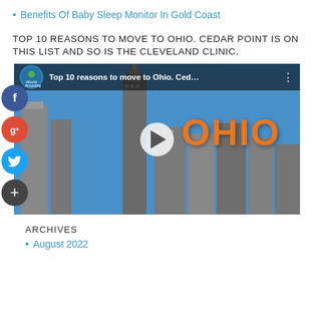Benefits Of Baby Sleep Monitor In Gold Coast
TOP 10 REASONS TO MOVE TO OHIO. CEDAR POINT IS ON THIS LIST AND SO IS THE CLEVELAND CLINIC.
[Figure (screenshot): YouTube video thumbnail showing Cleveland skyline with 'Top 10 reasons to move to Ohio. Ced...' title bar, OHIO text in orange, and social share buttons (Facebook, Google+, Twitter, plus) on the left side.]
ARCHIVES
August 2022